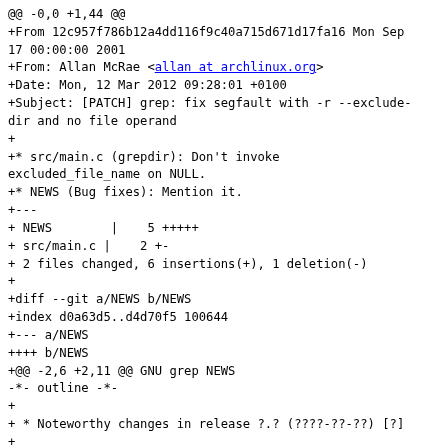@@ -0,0 +1,44 @@
+From 12c957f786b12a4dd116f9c40a715d671d17fa16 Mon Sep 17 00:00:00 2001
+From: Allan McRae <allan at archlinux.org>
+Date: Mon, 12 Mar 2012 09:28:01 +0100
+Subject: [PATCH] grep: fix segfault with -r --exclude-dir and no file operand
+
+* src/main.c (grepdir): Don't invoke excluded_file_name on NULL.
+* NEWS (Bug fixes): Mention it.
+---
+ NEWS        |    5 +++++
+ src/main.c |    2 +-
+ 2 files changed, 6 insertions(+), 1 deletion(-)
+
+diff --git a/NEWS b/NEWS
+index d0a63d5..d4d70f5 100644
+--- a/NEWS
++++ b/NEWS
+@@ -2,6 +2,11 @@ GNU grep NEWS
 -*-  outline -*-
+
+ * Noteworthy changes in release ?.? (????-??-??) [?]
+
++** Bug fixes
++
++    grep no longer segfaults with -r --exclude-dir and no file operand.
++  I.e., ":|grep -r --exclude-dir=D PAT" would